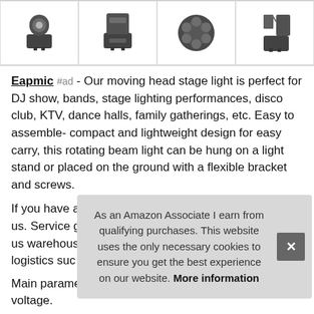[Figure (photo): Four product thumbnail images of stage lights / moving head lights in a horizontal strip]
Eapmic #ad - Our moving head stage light is perfect for DJ show, bands, stage lighting performances, disco club, KTV, dance halls, family gatherings, etc. Easy to assemble- compact and lightweight design for easy carry, this rotating beam light can be hung on a light stand or placed on the ground with a flexible bracket and screws.
If you have any problems, please feel free to contact us. Service guarantee- our products are shipped from us warehouses, we will ship your order asap through logistics suc
As an Amazon Associate I earn from qualifying purchases. This website uses the only necessary cookies to ensure you get the best experience on our website. More information
Main parameters- item type: moving head stage light, voltage.